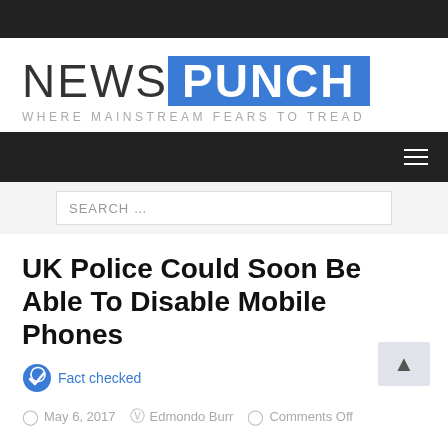[Figure (logo): NewsPunch logo — 'NEWS' in gray thin font, 'PUNCH' in white bold on blue rectangle, tagline 'WHERE MAINSTREAM FEARS TO TREAD' below in light gray spaced caps]
SEARCH ...
UK Police Could Soon Be Able To Disable Mobile Phones
Fact checked
May 6, 2017   Edmondo Burr   Comments Off